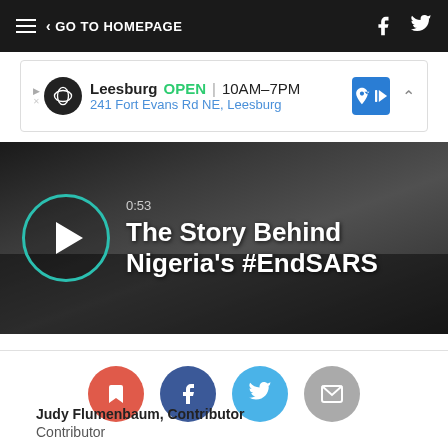GO TO HOMEPAGE
[Figure (screenshot): Ad banner for an Infinity auto dealership in Leesburg, showing OPEN status, hours 10AM-7PM, address 241 Fort Evans Rd NE, Leesburg]
[Figure (screenshot): Video thumbnail with play button, timestamp 0:53, title 'The Story Behind Nigeria's #EndSARS']
[Figure (infographic): Social share row with four circular buttons: bookmark (red), Facebook (dark blue), Twitter (light blue), email (gray)]
Judy Flumenbaum, Contributor
Contributor